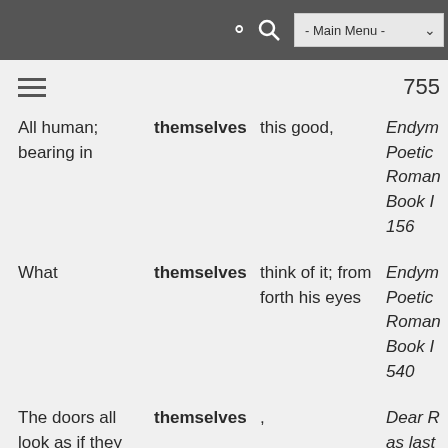- Main Menu -
755
| Context before | Keyword | Context after | Source |
| --- | --- | --- | --- |
| All human; bearing in | themselves | this good, | Endym Poetic Roman Book I 156 |
| What | themselves | think of it; from forth his eyes | Endym Poetic Roman Book I 540 |
| The doors all look as if they oped | themselves | , | Dear R as last lay in b 49 |